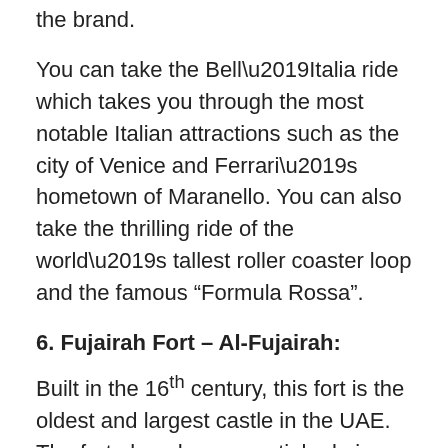the brand.
You can take the Bell’Italia ride which takes you through the most notable Italian attractions such as the city of Venice and Ferrari’s hometown of Maranello. You can also take the thrilling ride of the world’s tallest roller coaster loop and the famous “Formula Rossa”.
6. Fujairah Fort – Al-Fujairah:
Built in the 16th century, this fort is the oldest and largest castle in the UAE. The fort played an essential role in defending the lands against foreign invasions. It was built using local materials such as rock, gravel and mortar. After the British navy destroyed three of its towers in 1925 the building